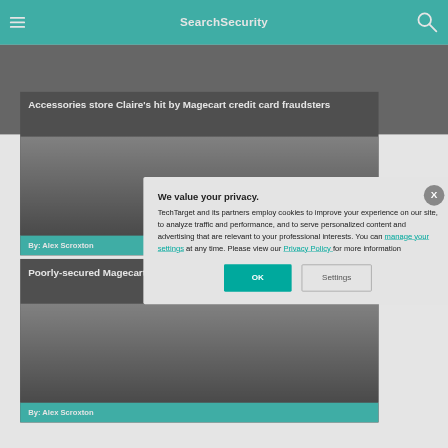SearchSecurity
[Figure (screenshot): Dark gray advertisement banner area below the header]
Accessories store Claire's hit by Magecart credit card fraudsters
By: Alex Scroxton
Poorly-secured Magecart attac
By: Alex Scroxton
We value your privacy. TechTarget and its partners employ cookies to improve your experience on our site, to analyze traffic and performance, and to serve personalized content and advertising that are relevant to your professional interests. You can manage your settings at any time. Please view our Privacy Policy for more information